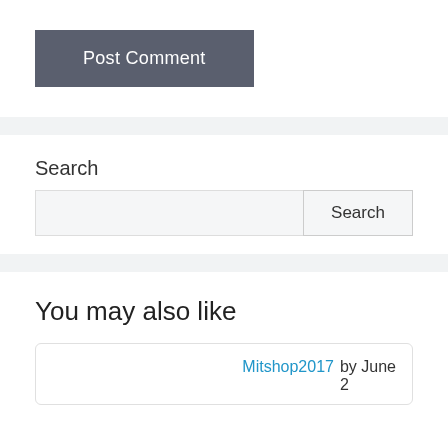[Figure (other): Post Comment button — dark grey rectangular button with white text]
Search
[Figure (other): Search input field with Search button]
You may also like
Mitshop2017  by June 2